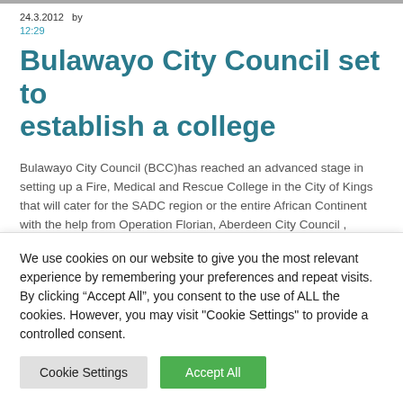24.3.2012   by
12:29
Bulawayo City Council set to establish a college
Bulawayo City Council (BCC)has reached an advanced stage in setting up a Fire, Medical and Rescue College in the City of Kings that will cater for the SADC region or the entire African Continent with the help from Operation Florian, Aberdeen City Council , Lancashire Fire Rescue Services and University of Central Lancashire (UCLAN).
The move was confirmed at a press conference Thursday
We use cookies on our website to give you the most relevant experience by remembering your preferences and repeat visits. By clicking “Accept All”, you consent to the use of ALL the cookies. However, you may visit "Cookie Settings" to provide a controlled consent.